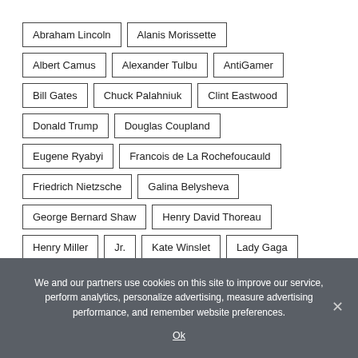Abraham Lincoln
Alanis Morissette
Albert Camus
Alexander Tulbu
AntiGamer
Bill Gates
Chuck Palahniuk
Clint Eastwood
Donald Trump
Douglas Coupland
Eugene Ryabyi
Francois de La Rochefoucauld
Friedrich Nietzsche
Galina Belysheva
George Bernard Shaw
Henry David Thoreau
Henry Miller
Jr.
Kate Winslet
Lady Gaga
We and our partners use cookies on this site to improve our service, perform analytics, personalize advertising, measure advertising performance, and remember website preferences.
Ok